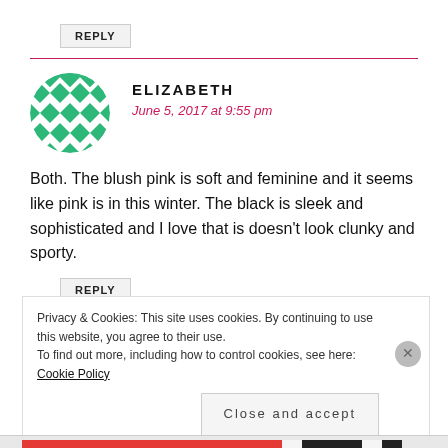REPLY
[Figure (illustration): Green and white diamond/checkerboard pattern circular avatar for user Elizabeth]
ELIZABETH
June 5, 2017 at 9:55 pm
Both. The blush pink is soft and feminine and it seems like pink is in this winter. The black is sleek and sophisticated and I love that is doesn't look clunky and sporty.
REPLY
Privacy & Cookies: This site uses cookies. By continuing to use this website, you agree to their use.
To find out more, including how to control cookies, see here: Cookie Policy
Close and accept